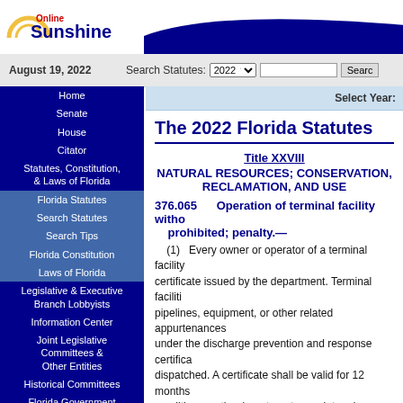[Figure (logo): Online Sunshine logo with arc graphic and blue/red text]
August 19, 2022   Search Statutes: 2022 [dropdown] [search box] Search
Home
Senate
House
Citator
Statutes, Constitution, & Laws of Florida
Florida Statutes
Search Statutes
Search Tips
Florida Constitution
Laws of Florida
Legislative & Executive Branch Lobbyists
Information Center
Joint Legislative Committees & Other Entities
Historical Committees
Florida Government Efficiency Task Force
Legislative Employment
Legistore
Select Year:
The 2022 Florida Statutes
Title XXVIII
NATURAL RESOURCES; CONSERVATION, RECLAMATION, AND USE
376.065 Operation of terminal facility without… prohibited; penalty.—
(1) Every owner or operator of a terminal facility… certificate issued by the department. Terminal faciliti… pipelines, equipment, or other related appurtenances… under the discharge prevention and response certifica… dispatched. A certificate shall be valid for 12 months… conditions as the department may determine are nece…
(2) Each applicant for a discharge prevention…